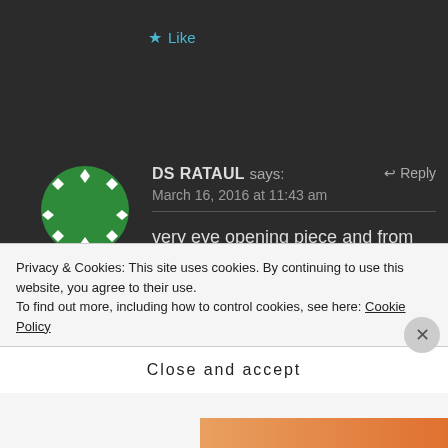★ Like
[Figure (illustration): Green circular avatar with white diamond shapes arranged around the border, resembling a poker chip or decorative coin icon]
DS RATAUL says:
↩ Reply
March 16, 2016 at 11:43 am
very eye opening piece and from this episode, though I am an optimist, I feel India still continue living in middle ages and it will never be civilized till it starts respecting it women and no politician is
Privacy & Cookies: This site uses cookies. By continuing to use this website, you agree to their use.
To find out more, including how to control cookies, see here: Cookie Policy
Close and accept